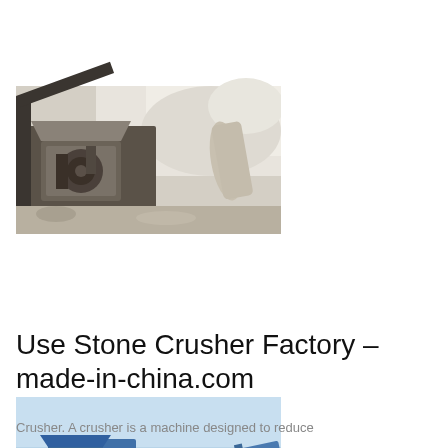[Figure (photo): Aerial/overhead view of a stone crusher machine at a quarry, showing mechanical components including a jaw crusher with dust and stone rubble, industrial machinery in grey and brown tones]
[Figure (photo): Side view of a large blue mobile stone crusher machine on tracks, set in an arid quarry landscape with sandy ground and clear blue sky]
Use Stone Crusher Factory - made-in-china.com
Crusher. A crusher is a machine designed to reduce